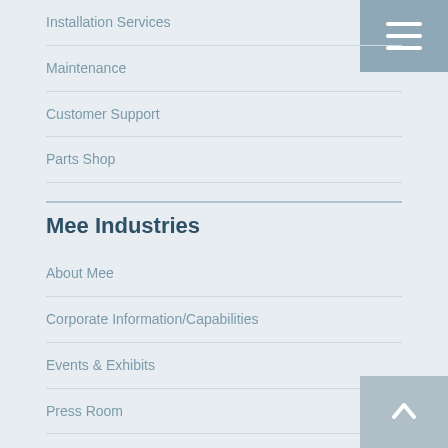Installation Services
Maintenance
Customer Support
Parts Shop
Mee Industries
About Mee
Corporate Information/Capabilities
Events & Exhibits
Press Room
Careers
Contact Mee
Resources
Blog
Case Studies
Knowledge Base
FAQ